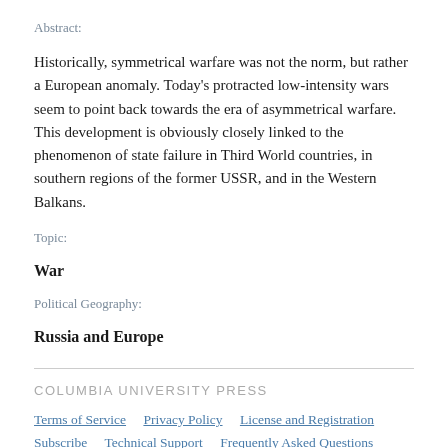Abstract:
Historically, symmetrical warfare was not the norm, but rather a European anomaly. Today's protracted low-intensity wars seem to point back towards the era of asymmetrical warfare. This development is obviously closely linked to the phenomenon of state failure in Third World countries, in southern regions of the former USSR, and in the Western Balkans.
Topic:
War
Political Geography:
Russia and Europe
COLUMBIA UNIVERSITY PRESS
Terms of Service   Privacy Policy   License and Registration
Subscribe   Technical Support   Frequently Asked Questions
About CIAO